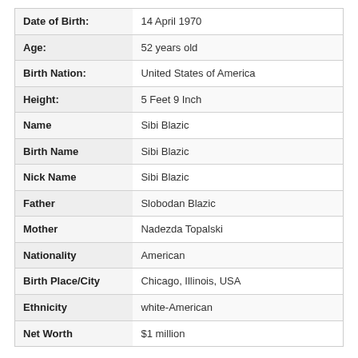| Field | Value |
| --- | --- |
| Date of Birth: | 14 April 1970 |
| Age: | 52 years old |
| Birth Nation: | United States of America |
| Height: | 5 Feet 9 Inch |
| Name | Sibi Blazic |
| Birth Name | Sibi Blazic |
| Nick Name | Sibi Blazic |
| Father | Slobodan Blazic |
| Mother | Nadezda Topalski |
| Nationality | American |
| Birth Place/City | Chicago, Illinois, USA |
| Ethnicity | white-American |
| Net Worth | $1 million |